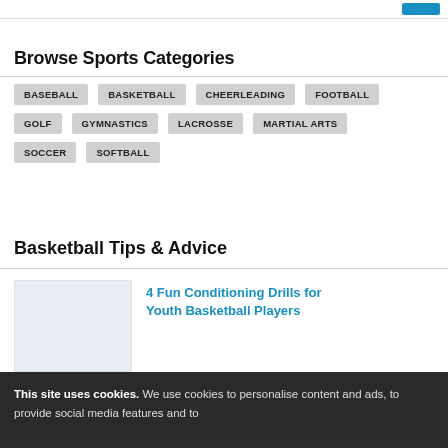Browse Sports Categories
BASEBALL
BASKETBALL
CHEERLEADING
FOOTBALL
GOLF
GYMNASTICS
LACROSSE
MARTIAL ARTS
SOCCER
SOFTBALL
Basketball Tips & Advice
[Figure (photo): Placeholder image for article about conditioning drills]
4 Fun Conditioning Drills for Youth Basketball Players
This site uses cookies. We use cookies to personalise content and ads, to provide social media features and to